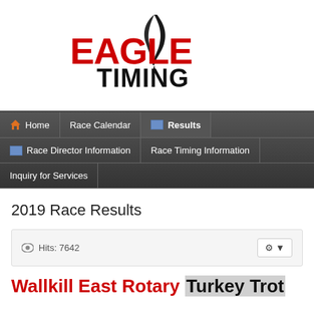[Figure (logo): Eagle Timing logo with large red 'EAGLE' text and black feather, 'TIMING' in bold black below]
[Figure (screenshot): Navigation menu bar with items: Home, Race Calendar, Results (active/highlighted), Race Director Information, Race Timing Information, Inquiry for Services]
2019 Race Results
Hits: 7642
Wallkill East Rotary Turkey Trot